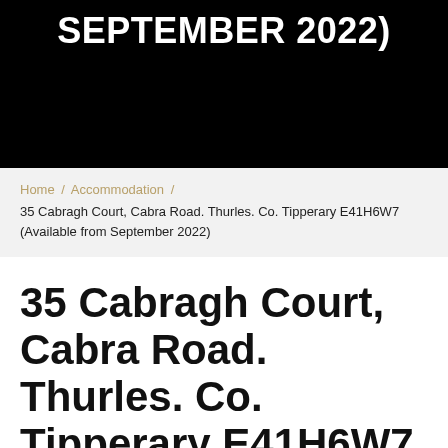SEPTEMBER 2022)
Home / Accommodation / 35 Cabragh Court, Cabra Road. Thurles. Co. Tipperary E41H6W7 (Available from September 2022)
35 Cabragh Court, Cabra Road. Thurles. Co. Tipperary E41H6W7 (Available from September 2022)